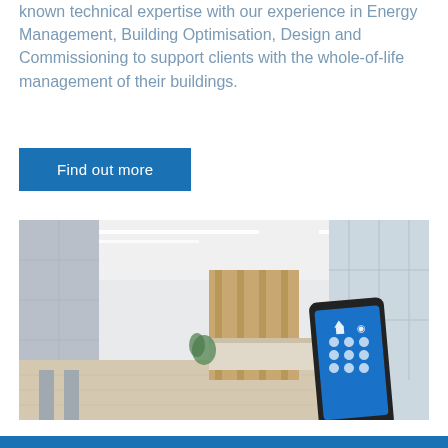known technical expertise with our experience in Energy Management, Building Optimisation, Design and Commissioning to support clients with the whole-of-life management of their buildings.
Find out more
[Figure (photo): A modern building lobby interior with marble flooring, stone walls, wooden slat feature wall, and a hand holding a smartphone displaying a smart home control app with icons for home automation functions.]